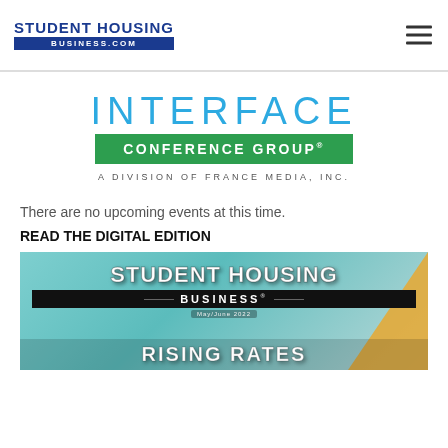STUDENT HOUSING BUSINESS.COM
[Figure (logo): Interface Conference Group logo - blue INTERFACE text with green CONFERENCE GROUP badge and tagline A DIVISION OF FRANCE MEDIA, INC.]
There are no upcoming events at this time.
READ THE DIGITAL EDITION
[Figure (photo): Student Housing Business magazine cover - May/June 2022 issue with RISING RATES headline on teal background with orange diagonal accent]